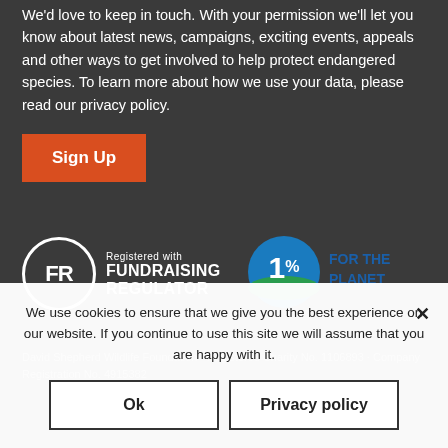We'd love to keep in touch. With your permission we'll let you know about latest news, campaigns, exciting events, appeals and other ways to get involved to help protect endangered species. To learn more about how we use your data, please read our privacy policy.
[Figure (illustration): Orange 'Sign Up' button]
[Figure (logo): Registered with Fundraising Regulator logo (FR circle icon with text)]
[Figure (logo): 1% For The Planet logo (globe with 1% text and FOR THE PLANET text)]
David Shepherd Wildlife Foundation. Registered Charity No. 1106893. Company Registration No. 4915382.
We use cookies to ensure that we give you the best experience on our website. If you continue to use this site we will assume that you are happy with it.
Ok
Privacy policy